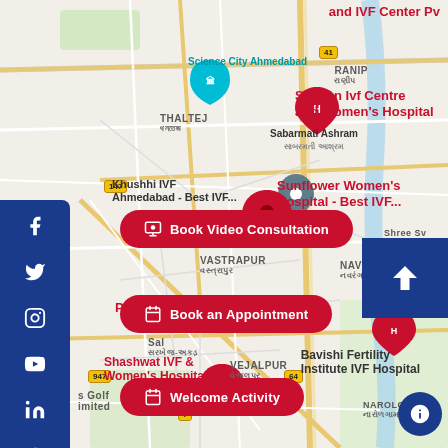[Figure (map): Google Maps screenshot showing Ahmedabad area with multiple IVF hospital markers: Shukan Ivf Centre and Women's Hospital, Khushhi IVF Ahmedabad - Best IVF, Sunflower Women's Hospital - Best IVF, Planet Women: Best IVF Center in Ahmedabad, Shashwat IVF & Women's Hospital, Bavishi Fertility Institute IVF Hospital, Science City Ahmedabad, Sabarmati Ashram. Area labels include Thaltej, Vastrapur, Navrangpura, Vejalpur, Ranip, Narolgam. Road numbers 147, 947, 41, 64 visible.]
and IVF Center Pv...
Book Video Consultation
Book an Appointment
Welcome Activity